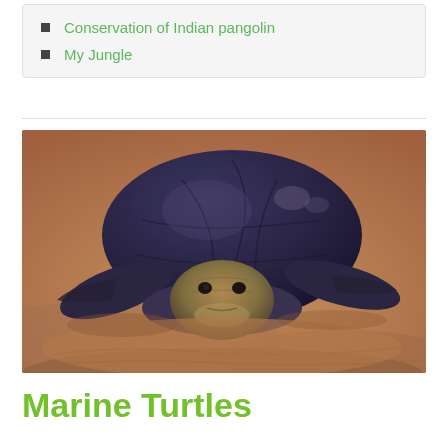Conservation of Indian pangolin
My Jungle
[Figure (photo): A large sea turtle resting on sandy brown beach, viewed from the front, with dark shell and pale underside, flippers spread out.]
Marine Turtles